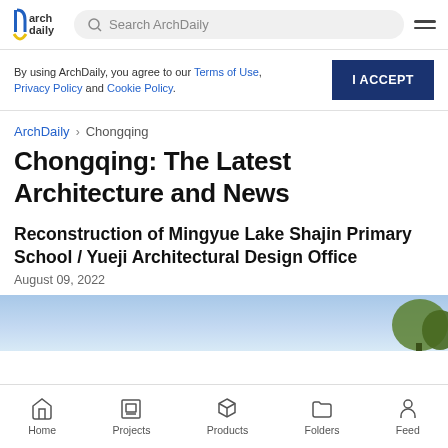ArchDaily — Search bar and navigation header
By using ArchDaily, you agree to our Terms of Use, Privacy Policy and Cookie Policy.
I ACCEPT
ArchDaily > Chongqing
Chongqing: The Latest Architecture and News
Reconstruction of Mingyue Lake Shajin Primary School / Yueji Architectural Design Office
August 09, 2022
[Figure (photo): Partial view of a building with blue sky and green trees in the background]
Home  Projects  Products  Folders  Feed